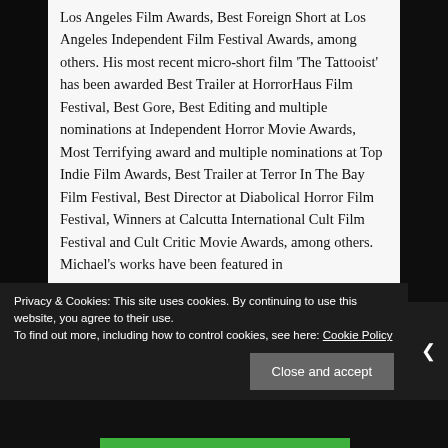Los Angeles Film Awards, Best Foreign Short at Los Angeles Independent Film Festival Awards, among others. His most recent micro-short film 'The Tattooist' has been awarded Best Trailer at HorrorHaus Film Festival, Best Gore, Best Editing and multiple nominations at Independent Horror Movie Awards, Most Terrifying award and multiple nominations at Top Indie Film Awards, Best Trailer at Terror In The Bay Film Festival, Best Director at Diabolical Horror Film Festival, Winners at Calcutta International Cult Film Festival and Cult Critic Movie Awards, among others. Michael's works have been featured in
Privacy & Cookies: This site uses cookies. By continuing to use this website, you agree to their use.
To find out more, including how to control cookies, see here: Cookie Policy